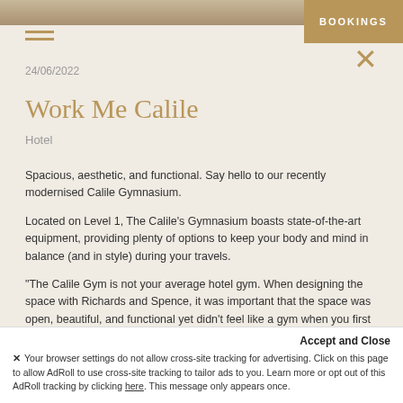[Figure (photo): Top image strip showing hotel/gym area]
BOOKINGS
☰ (hamburger menu icon)
24/06/2022
Work Me Calile
Hotel
Spacious, aesthetic, and functional. Say hello to our recently modernised Calile Gymnasium.

Located on Level 1, The Calile's Gymnasium boasts state-of-the-art equipment, providing plenty of options to keep your body and mind in balance (and in style) during your travels.

"The Calile Gym is not your average hotel gym. When designing the space with Richards and Spence, it was important that the space was open, beautiful, and functional yet didn't feel like a gym when you first stepped inside. Because while on vacation, you want to be immersed in new experiences and feel like you
Accept and Close
× Your browser settings do not allow cross-site tracking for advertising. Click on this page to allow AdRoll to use cross-site tracking to tailor ads to you. Learn more or opt out of this AdRoll tracking by clicking here. This message only appears once.